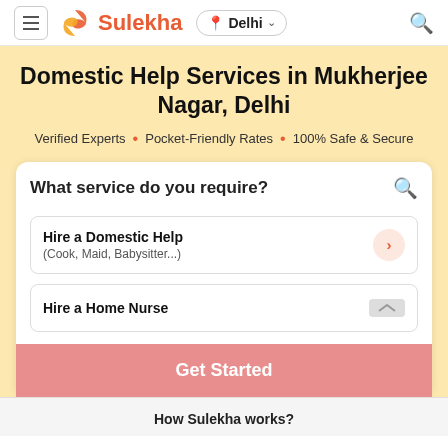[Figure (screenshot): Sulekha app navigation bar with hamburger menu, Sulekha logo, Delhi location selector, and search icon]
Domestic Help Services in Mukherjee Nagar, Delhi
Verified Experts • Pocket-Friendly Rates • 100% Safe & Secure
What service do you require?
Hire a Domestic Help (Cook, Maid, Babysitter...)
Hire a Home Nurse
Get Started
How Sulekha works?